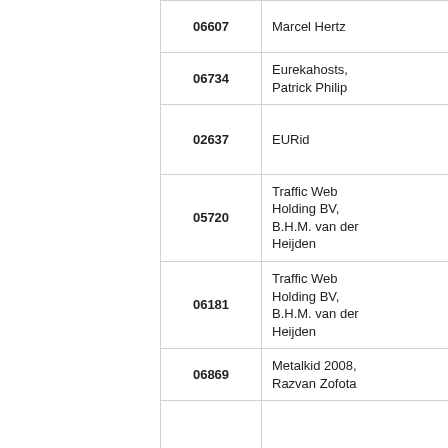|  | ID | Name | Party |
| --- | --- | --- | --- |
|  | 06607 | Marcel Hertz | Aktienges... Mr Rudolf... |
|  | 06734 | Eurekahosts, Patrick Philip | Symbios S... Ltd |
|  | 02637 | EURid | Anyro & C... o.o., Pan Dlugosz |
|  | 05720 | Traffic Web Holding BV, B.H.M. van der Heijden | Anyro & C... o.o. |
|  | 06181 | Traffic Web Holding BV, B.H.M. van der Heijden | Gönder B... |
|  | 06869 | Metalkid 2008, Razvan Zofota | Schiess T... GmbH |
|  | 05380 | Baris Dienstverlening | SYNGENT... PARTICIF... AG, SYNC... PARTICIF... AG SYNG... PARTICIF... AG |
|  | 07652 | Fiolet Holding BV, Arnoud Fiolet | Sport Gro... Holding G... |
|  | 01318 | EURid | Dr Massin... Introvigne... |